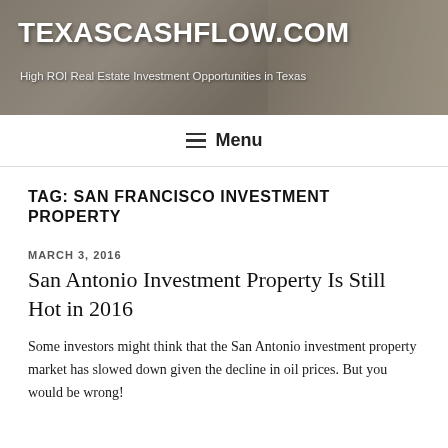[Figure (photo): Website header banner showing miniature house models and stacked money/cash in background, with TEXASCASHFLOW.COM site title and tagline overlaid]
TEXASCASHFLOW.COM
High ROI Real Estate Investment Opportunities in Texas
≡ Menu
TAG: SAN FRANCISCO INVESTMENT PROPERTY
MARCH 3, 2016
San Antonio Investment Property Is Still Hot in 2016
Some investors might think that the San Antonio investment property market has slowed down given the decline in oil prices. But you would be wrong!